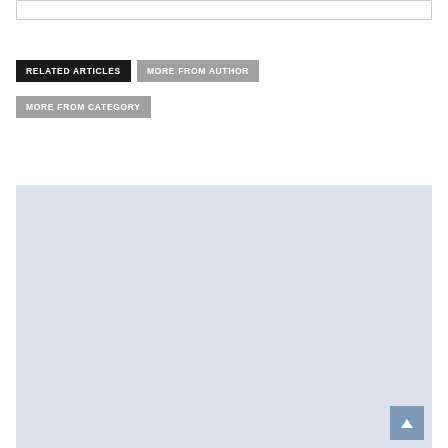[Figure (screenshot): Top partial border/bar element at the top of the page]
RELATED ARTICLES
MORE FROM AUTHOR
MORE FROM CATEGORY
[Figure (other): Large light blue/gray placeholder content area filling the bottom portion of the page, with a scroll-to-top button (arrow up) in the bottom right corner]